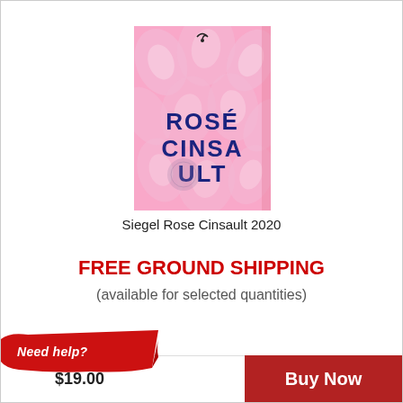[Figure (illustration): Wine bottle label for Siegel Rose Cinsault 2020 — pink floral background with dark blue text reading ROSÉ CINSAULT, small decorative element at top]
Siegel Rose Cinsault 2020
FREE GROUND SHIPPING
(available for selected quantities)
$19.00
Buy Now
Need help?